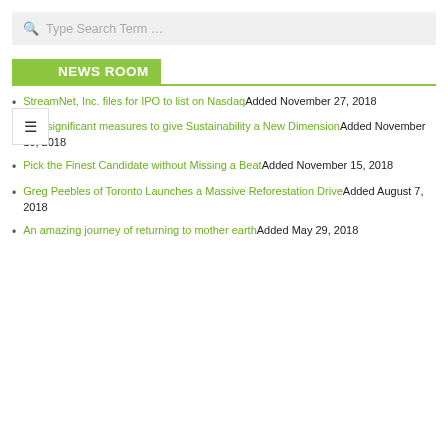Type Search Term …
NEWS ROOM
StreamNet, Inc. files for IPO to list on NasdaqAdded November 27, 2018
Few significant measures to give Sustainability a New DimensionAdded November 16, 2018
Pick the Finest Candidate without Missing a BeatAdded November 15, 2018
Greg Peebles of Toronto Launches a Massive Reforestation DriveAdded August 7, 2018
An amazing journey of returning to mother earthAdded May 29, 2018